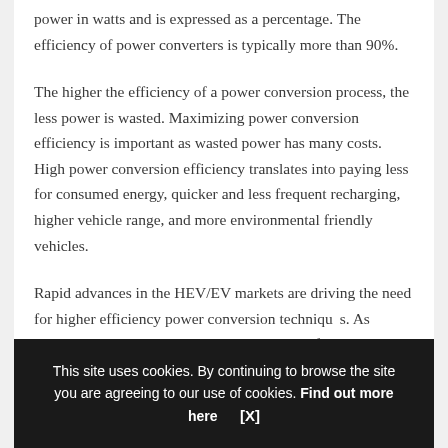power in watts and is expressed as a percentage. The efficiency of power converters is typically more than 90%.
The higher the efficiency of a power conversion process, the less power is wasted. Maximizing power conversion efficiency is important as wasted power has many costs. High power conversion efficiency translates into paying less for consumed energy, quicker and less frequent recharging, higher vehicle range, and more environmental friendly vehicles.
Rapid advances in the HEV/EV markets are driving the need for higher efficiency power conversion techniques. As electric vehicles become more popular, manufacturers and consumers will both need to...
This site uses cookies. By continuing to browse the site you are agreeing to our use of cookies. Find out more here   [X]